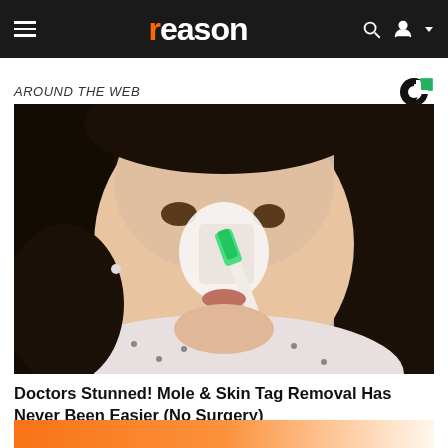reason
AROUND THE WEB
[Figure (photo): Woman applying white paste to her nose/face area with a toothbrush, wearing a patterned shirt, looking toward camera]
Doctors Stunned! Mole & Skin Tag Removal Has Never Been Easier (No Surgery)
[Figure (photo): Bottom teaser strip showing partial orange/warm-colored image]